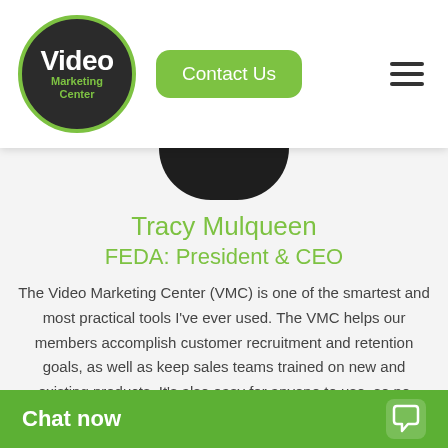[Figure (logo): Video Marketing Center logo: dark circle with green border, white 'Video' text, green 'Marketing Center' text]
Contact Us
[Figure (photo): Partial circular profile photo of Tracy Mulqueen, dark background]
Tracy Mulqueen
FEDA: President & CEO
The Video Marketing Center (VMC) is one of the smartest and most practical tools I've ever used. The VMC helps our members accomplish customer recruitment and retention goals, as well as keep sales teams trained on new and existing products. It's also easy for anyone to use, so no worries about incorporating complex technology into your opera... enough, espe...
Chat now